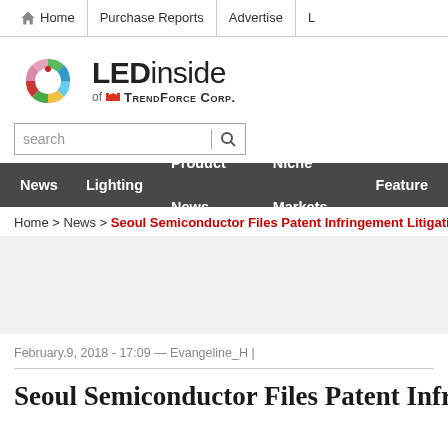Home | Purchase Reports | Advertise | L
[Figure (logo): LEDinside of TrendForce Corp. logo with colorful circular icon]
search
News | Lighting | Product News | Niche Markets | Features
Home > News > Seoul Semiconductor Files Patent Infringement Litigation ag
February.9, 2018 - 17:09 — Evangeline_H |
Seoul Semiconductor Files Patent Infring